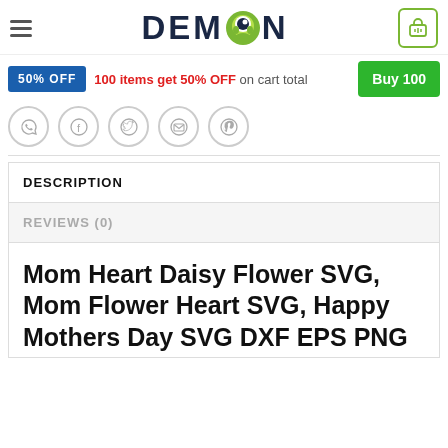[Figure (logo): DEMON store logo with monster character replacing the O]
50% OFF  100 items get 50% OFF on cart total  Buy 100
[Figure (infographic): Social sharing icons: WhatsApp, Facebook, Twitter, Email, Pinterest]
DESCRIPTION
REVIEWS (0)
Mom Heart Daisy Flower SVG, Mom Flower Heart SVG, Happy Mothers Day SVG DXF EPS PNG